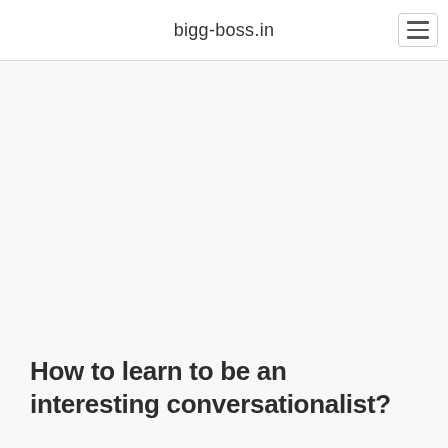bigg-boss.in
How to learn to be an interesting conversationalist?